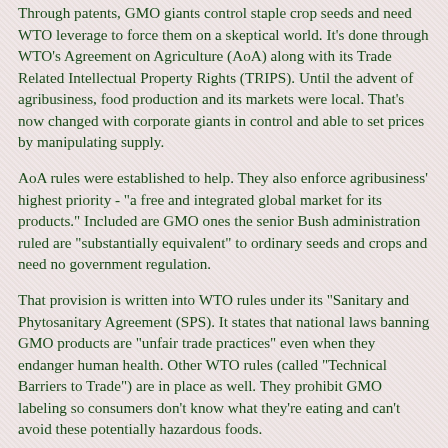Through patents, GMO giants control staple crop seeds and need WTO leverage to force them on a skeptical world. It's done through WTO's Agreement on Agriculture (AoA) along with its Trade Related Intellectual Property Rights (TRIPS). Until the advent of agribusiness, food production and its markets were local. That's now changed with corporate giants in control and able to set prices by manipulating supply.
AoA rules were established to help. They also enforce agribusiness' highest priority - "a free and integrated global market for its products." Included are GMO ones the senior Bush administration ruled are "substantially equivalent" to ordinary seeds and crops and need no government regulation.
That provision is written into WTO rules under its "Sanitary and Phytosanitary Agreement (SPS). It states that national laws banning GMO products are "unfair trade practices" even when they endanger human health. Other WTO rules (called "Technical Barriers to Trade") are in place as well. They prohibit GMO labeling so consumers don't know what they're eating and can't avoid these potentially hazardous foods.
The WTO Dispute Settlement...